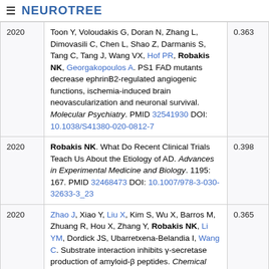NEUROTREE
| Year | Reference | Score |
| --- | --- | --- |
| 2020 | Toon Y, Voloudakis G, Doran N, Zhang L, Dimovasili C, Chen L, Shao Z, Darmanis S, Tang C, Tang J, Wang VX, Hof PR, Robakis NK, Georgakopoulos A. PS1 FAD mutants decrease ephrinB2-regulated angiogenic functions, ischemia-induced brain neovascularization and neuronal survival. Molecular Psychiatry. PMID 32541930 DOI: 10.1038/S41380-020-0812-7 | 0.363 |
| 2020 | Robakis NK. What Do Recent Clinical Trials Teach Us About the Etiology of AD. Advances in Experimental Medicine and Biology. 1195: 167. PMID 32468473 DOI: 10.1007/978-3-030-32633-3_23 | 0.398 |
| 2020 | Zhao J, Xiao Y, Liu X, Kim S, Wu X, Barros M, Zhuang R, Hou X, Zhang Y, Robakis NK, Li YM, Dordick JS, Ubarretxena-Belandia I, Wang C. Substrate interaction inhibits γ-secretase production of amyloid-β peptides. Chemical Communications (Cambridge, England). PMID | 0.365 |